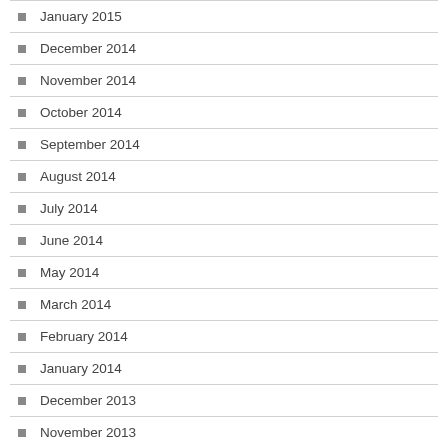January 2015
December 2014
November 2014
October 2014
September 2014
August 2014
July 2014
June 2014
May 2014
March 2014
February 2014
January 2014
December 2013
November 2013
October 2013